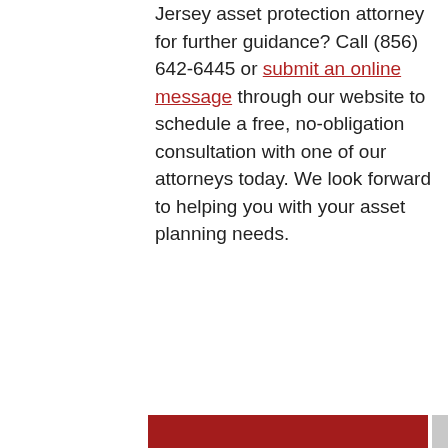Jersey asset protection attorney for further guidance? Call (856) 642-6445 or submit an online message through our website to schedule a free, no-obligation consultation with one of our attorneys today. We look forward to helping you with your asset planning needs.
[Figure (other): Red contact form panel with 'Safe & Secure' heading, 'No Obligation Case Evaluation' subtitle, gavel icon with decorative dividers, and form fields for FULL NAME and PHONE NUMBER]